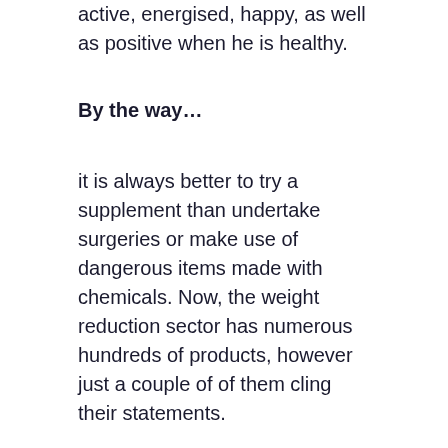active, energised, happy, as well as positive when he is healthy.
By the way…
it is always better to try a supplement than undertake surgeries or make use of dangerous items made with chemicals. Now, the weight reduction sector has numerous hundreds of products, however just a couple of of them cling their statements.
This Ikaria Lean Belly Juice evaluation will certainly examine this new item that is high in demand nowadays. Let's discover what makes this powdered supplement better than diet regimen